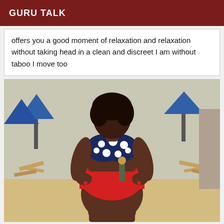GURU TALK
offers you a good moment of relaxation and relaxation without taking head in a clean and discreet I am without taboo I move too
[Figure (photo): A woman standing on a beach wearing a navy blue polka-dot bikini top and red high-waisted bottoms, with beach chairs and blue umbrellas visible in the background.]